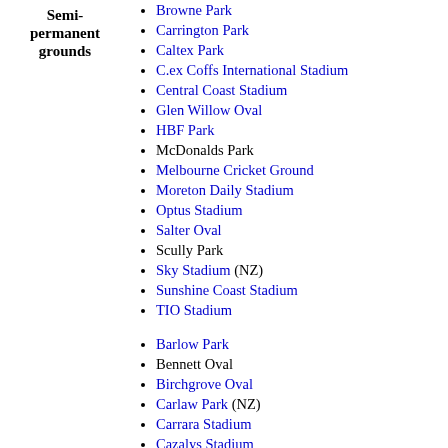Semi-permanent grounds
Browne Park
Carrington Park
Caltex Park
C.ex Coffs International Stadium
Central Coast Stadium
Glen Willow Oval
HBF Park
McDonalds Park
Melbourne Cricket Ground
Moreton Daily Stadium
Optus Stadium
Salter Oval
Scully Park
Sky Stadium (NZ)
Sunshine Coast Stadium
TIO Stadium
Barlow Park
Bennett Oval
Birchgrove Oval
Carlaw Park (NZ)
Carrara Stadium
Cazalys Stadium
Chatswood Oval
Clive Berghofer Stadium